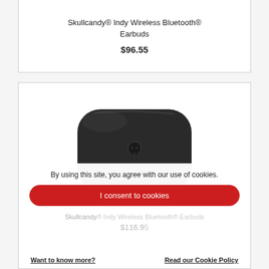Skullcandy® Indy Wireless Bluetooth® Earbuds
$96.55
[Figure (photo): Black Skullcandy earbuds charging case, rounded rectangle shape with Skullcandy skull logo on front, matte finish]
By using this site, you agree with our use of cookies.
I consent to cookies
Skullcandy® Indy Wireless Bluetooth® Earbuds
$116.95
Want to know more?
Read our Cookie Policy